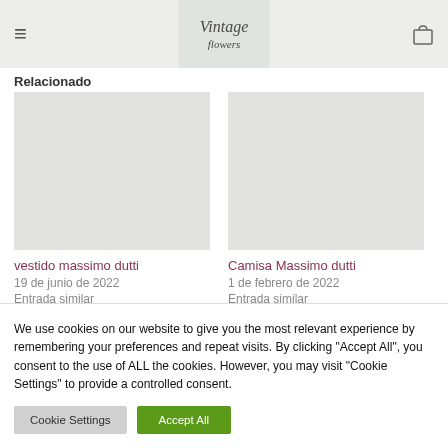Vintage Flowers — navigation header with logo
Relacionado
vestido massimo dutti
19 de junio de 2022
Entrada similar
Camisa Massimo dutti
1 de febrero de 2022
Entrada similar
We use cookies on our website to give you the most relevant experience by remembering your preferences and repeat visits. By clicking "Accept All", you consent to the use of ALL the cookies. However, you may visit "Cookie Settings" to provide a controlled consent.